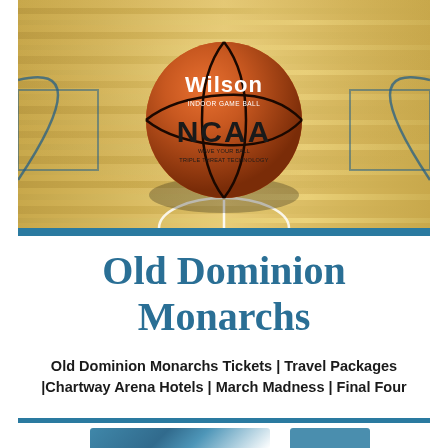[Figure (photo): NCAA Wilson indoor game ball basketball resting on a hardwood basketball court, viewed from above. The court shows the center circle and court markings. The ball prominently shows 'Wilson' and 'NCAA' branding.]
Old Dominion Monarchs
Old Dominion Monarchs Tickets | Travel Packages |Chartway Arena Hotels | March Madness | Final Four
[Figure (photo): Partial view of what appears to be a ticket or card with blue coloring at the bottom of the page.]